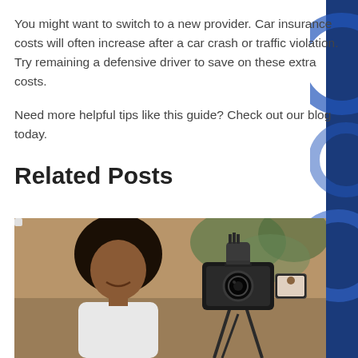You might want to switch to a new provider. Car insurance costs will often increase after a car crash or traffic violation. Try remaining a defensive driver to save on these extra costs.
Need more helpful tips like this guide? Check out our blog today.
Related Posts
[Figure (photo): A person with curly hair smiling in front of a camera with a microphone on top, shooting a video blog outdoors with a blurred background of trees and buildings.]